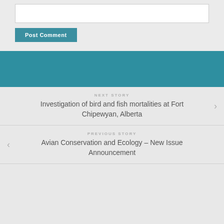[Figure (other): Comment input text box (white rectangle)]
Post Comment
[Figure (other): Teal/teal-green decorative horizontal bar]
NEXT STORY
Investigation of bird and fish mortalities at Fort Chipewyan, Alberta
PREVIOUS STORY
Avian Conservation and Ecology – New Issue Announcement